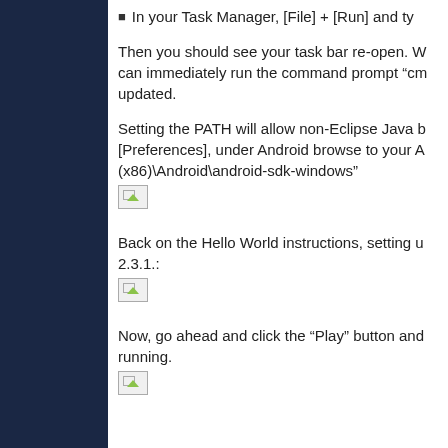In your Task Manager, [File] + [Run] and ty
Then you should see your task bar re-open. W can immediately run the command prompt "cm updated.
Setting the PATH will allow non-Eclipse Java b [Preferences], under Android browse to your A (x86)\Android\android-sdk-windows"
[Figure (screenshot): Broken/missing image placeholder]
Back on the Hello World instructions, setting u 2.3.1.:
[Figure (screenshot): Broken/missing image placeholder]
Now, go ahead and click the “Play” button and running.
[Figure (screenshot): Broken/missing image placeholder]